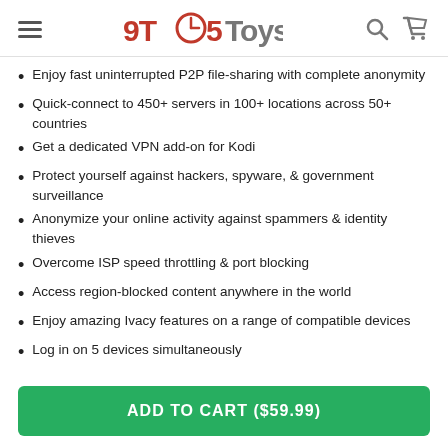9TO5Toys
Enjoy fast uninterrupted P2P file-sharing with complete anonymity
Quick-connect to 450+ servers in 100+ locations across 50+ countries
Get a dedicated VPN add-on for Kodi
Protect yourself against hackers, spyware, & government surveillance
Anonymize your online activity against spammers & identity thieves
Overcome ISP speed throttling & port blocking
Access region-blocked content anywhere in the world
Enjoy amazing Ivacy features on a range of compatible devices
Log in on 5 devices simultaneously
ADD TO CART ($59.99)